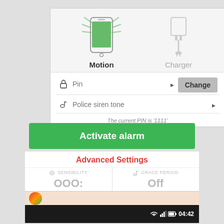[Figure (screenshot): Mobile app screenshot showing alarm settings with Motion and Charger trigger icons, PIN field with Change button, Police siren tone selector, current PIN note, Activate alarm button, and Advanced Settings section with Sensibility and Grace Period columns. A status bar shows time 04:42 at bottom.]
Motion
Charger
Pin
Change
Police siren tone
The current PIN is '1111'
Activate alarm
Advanced Settings
SENSIBILITY
GRACE PERIOD
04:42